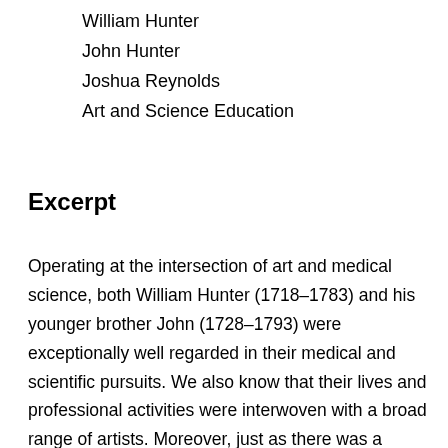William Hunter
John Hunter
Joshua Reynolds
Art and Science Education
Excerpt
Operating at the intersection of art and medical science, both William Hunter (1718–1783) and his younger brother John (1728–1793) were exceptionally well regarded in their medical and scientific pursuits. We also know that their lives and professional activities were interwoven with a broad range of artists. Moreover, just as there was a breach between them due to priority quarrels related to their medical knowledge, at least some of the artistic…